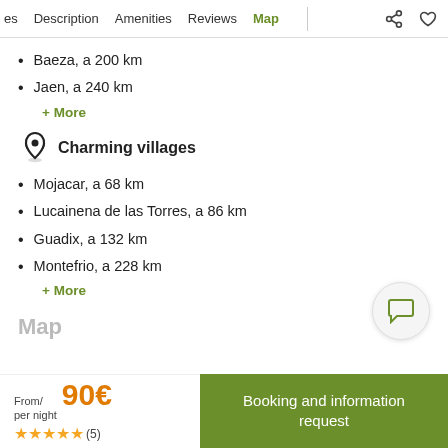es  Description  Amenities  Reviews  Map
Baeza, a 200 km
Jaen, a 240 km
+ More
Charming villages
Mojacar, a 68 km
Lucainena de las Torres, a 86 km
Guadix, a 132 km
Montefrio, a 228 km
+ More
Map
From/ per night 90€ ★★★★★ (5)
Booking and information request